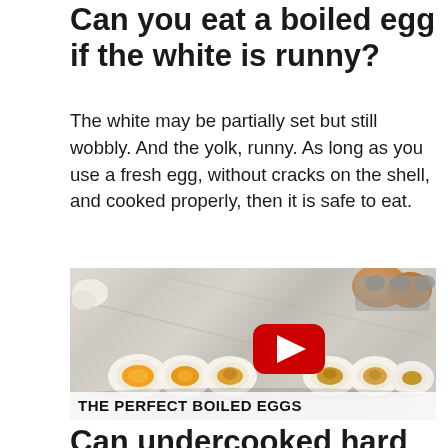Can you eat a boiled egg if the white is runny?
The white may be partially set but still wobbly. And the yolk, runny. As long as you use a fresh egg, without cracks on the shell, and cooked properly, then it is safe to eat.
[Figure (photo): YouTube video thumbnail showing halved boiled eggs at various doneness levels on a marble surface, with a red YouTube play button in the center. A video title bar at the bottom reads 'THE PERFECT BOILED EGGS'.]
Can undercooked hard boiled eggs make you sick?